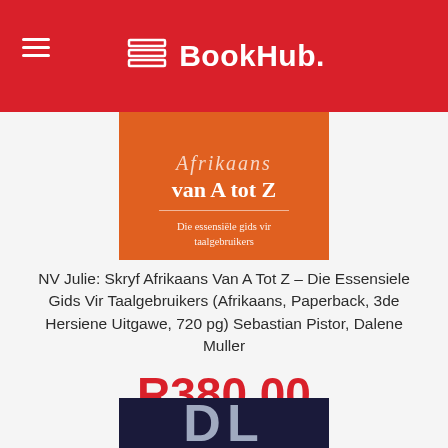BookHub.
[Figure (photo): Book cover for 'Afrikaans van A tot Z – Die essensiële gids vir taalgebruikers' with orange background]
NV Julie: Skryf Afrikaans Van A Tot Z – Die Essensiele Gids Vir Taalgebruikers (Afrikaans, Paperback, 3de Hersiene Uitgawe, 720 pg) Sebastian Pistor, Dalene Muller
R380.00
Add to basket
[Figure (photo): Bottom portion of another book cover with dark navy background and partial letters visible]